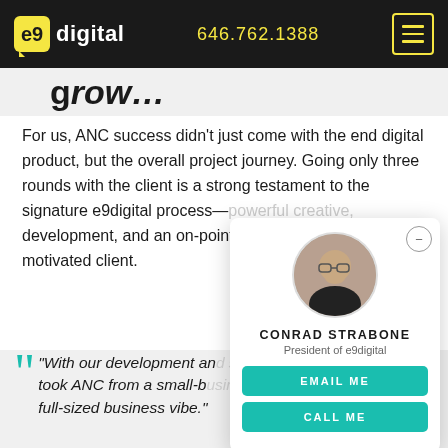e9 digital | 646.762.1388
grow…
For us, ANC success didn't just come with the end digital product, but the overall project journey. Going only three rounds with the client is a strong testament to the signature e9digital process—powerful creative, development, and an on-point [content] into a highly motivated client.
[Figure (photo): Headshot of Conrad Strabone, President of e9digital, in circular crop. Card shows his name, title, and EMAIL ME / CALL ME buttons.]
“With our development an[d strategy, we] took ANC from a small-b[usiness mentality to a] full-sized business vibe.”